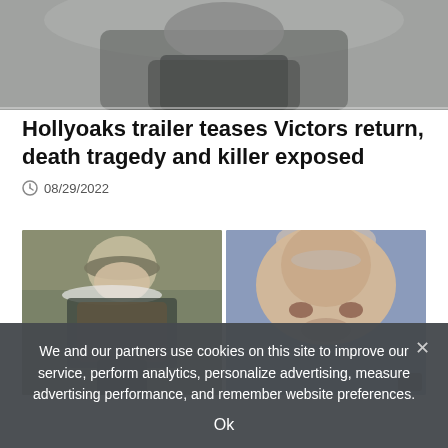[Figure (photo): Top portion of a person wearing a grey/brown top, cropped at the torso, partially cut off at top]
Hollyoaks trailer teases Victors return, death tragedy and killer exposed
08/29/2022
[Figure (photo): Two side-by-side photos: left shows an older man with white beard and flat cap in outdoor setting; right shows a close-up of an elderly bald man's face]
We and our partners use cookies on this site to improve our service, perform analytics, personalize advertising, measure advertising performance, and remember website preferences.
Ok